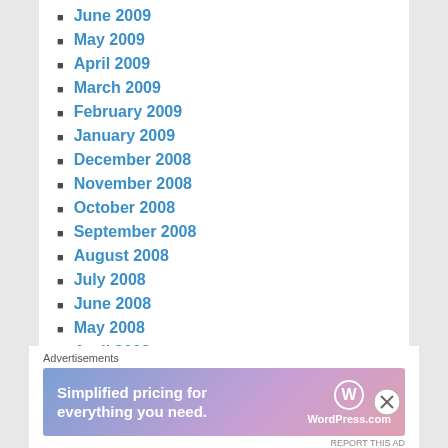June 2009
May 2009
April 2009
March 2009
February 2009
January 2009
December 2008
November 2008
October 2008
September 2008
August 2008
July 2008
June 2008
May 2008
April 2008
March 2008
February 2008
January 2008
Advertisements
[Figure (infographic): WordPress.com advertisement banner: 'Simplified pricing for everything you need.' with WordPress logo]